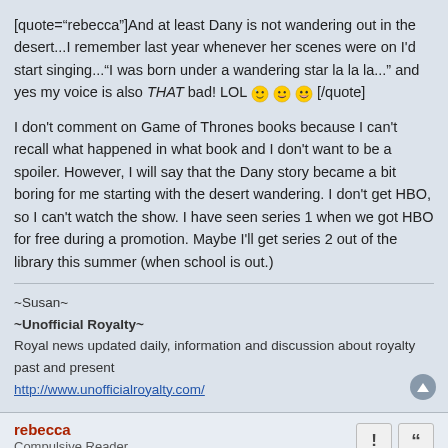[quote=""rebecca""]And at least Dany is not wandering out in the desert...I remember last year whenever her scenes were on I'd start singing..."I was born under a wandering star la la la..." and yes my voice is also THAT bad! LOL [/quote]
I don't comment on Game of Thrones books because I can't recall what happened in what book and I don't want to be a spoiler. However, I will say that the Dany story became a bit boring for me starting with the desert wandering. I don't get HBO, so I can't watch the show. I have seen series 1 when we got HBO for free during a promotion. Maybe I'll get series 2 out of the library this summer (when school is out.)
~Susan~
~Unofficial Royalty~
Royal news updated daily, information and discussion about royalty past and present
http://www.unofficialroyalty.com/
rebecca
Compulsive Reader
Mon March 25th, 2013, 2:21 am
[quote=""Susan""]I don't comment on Game of Thrones books because I